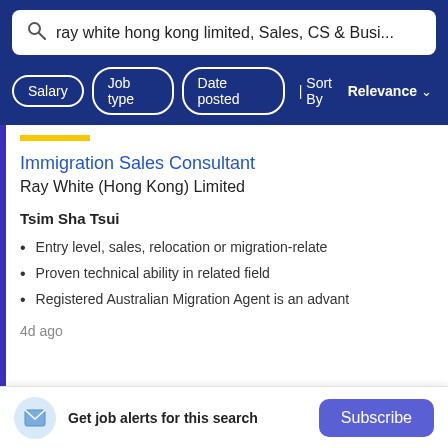ray white hong kong limited, Sales, CS & Busi...
Salary  Job type  Date posted  | Sort By Relevance
Immigration Sales Consultant
Ray White (Hong Kong) Limited
Tsim Sha Tsui
Entry level, sales, relocation or migration-relate
Proven technical ability in related field
Registered Australian Migration Agent is an advant
4d ago
Get job alerts for this search
Subscribe